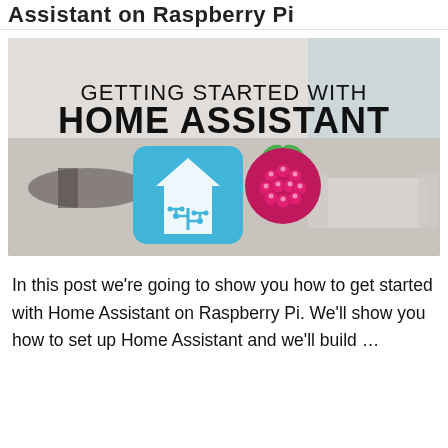Assistant on Raspberry Pi
[Figure (illustration): Promotional banner image with a modern living room background. Text reads 'GETTING STARTED WITH HOME ASSISTANT' in bold. Shows the Home Assistant logo (blue square with white house and circuit-tree icon) and the Raspberry Pi logo (red raspberry with green leaves).]
In this post we're going to show you how to get started with Home Assistant on Raspberry Pi. We'll show you how to set up Home Assistant and we'll build …